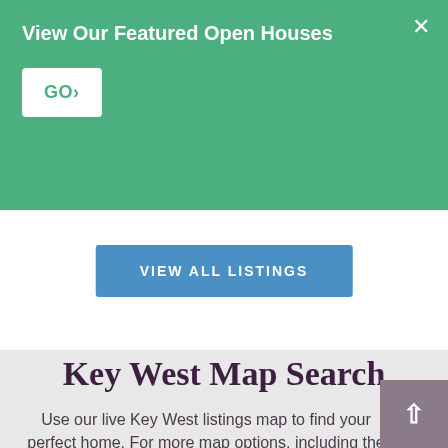View Our Featured Open Houses
GO›
VIEW ALL LISTINGS
Key West Map Search
Use our live Key West listings map to find your perfect home. For more map options, including the ability to draw your own map region, please visit our Key West Map search